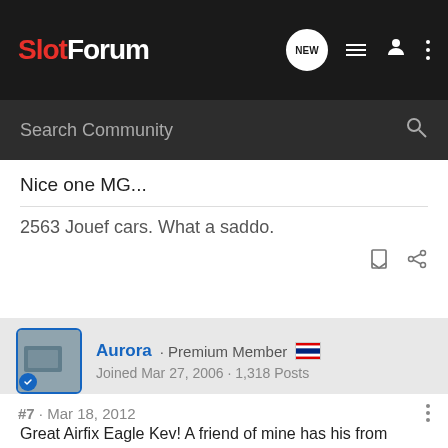SlotForum
Search Community
Nice one MG...
2563 Jouef cars. What a saddo.
Aurora · Premium Member
Joined Mar 27, 2006 · 1,318 Posts
#7 · Mar 18, 2012
Great Airfix Eagle Kev! A friend of mine has his from when he was a kid, and we had a lot of fun trying to get it to run on the